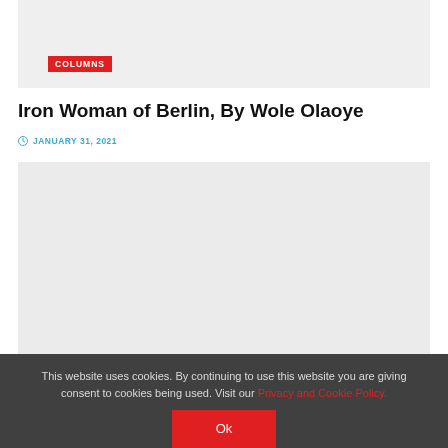[Figure (photo): Top gray placeholder image area with COLUMNS badge]
Iron Woman of Berlin, By Wole Olaoye
JANUARY 31, 2021
[Figure (photo): Large gray placeholder image area with COLUMNS badge at bottom]
This website uses cookies. By continuing to use this website you are giving consent to cookies being used. Visit our Privacy and Cookie Policy.